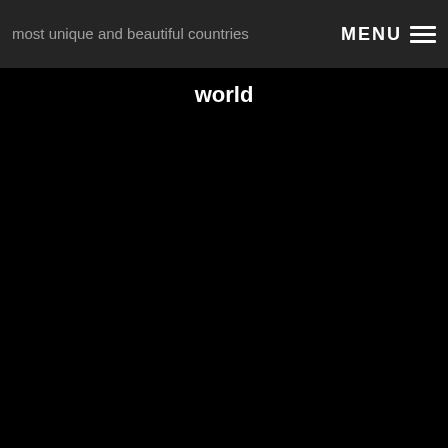most unique and beautiful countries world
world